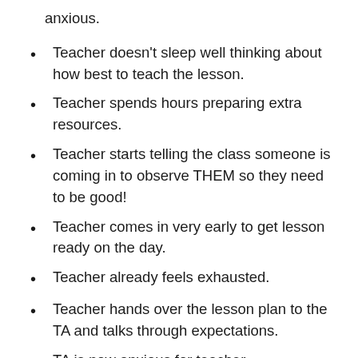anxious.
Teacher doesn't sleep well thinking about how best to teach the lesson.
Teacher spends hours preparing extra resources.
Teacher starts telling the class someone is coming in to observe THEM so they need to be good!
Teacher comes in very early to get lesson ready on the day.
Teacher already feels exhausted.
Teacher hands over the lesson plan to the TA and talks through expectations.
TA is now anxious for teacher.